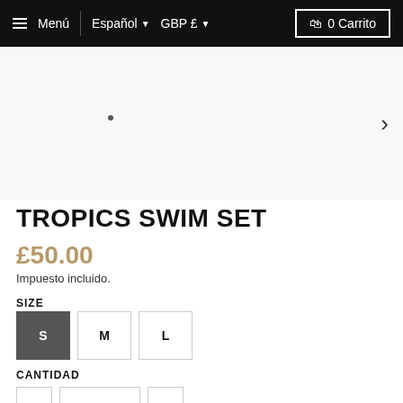≡ Menú | Español ▼ GBP £ ▼   🛍 0 Carrito
[Figure (photo): Product image area with navigation dot indicator and right arrow for image carousel]
TROPICS SWIM SET
£50.00
Impuesto incluido.
SIZE
S  M  L
CANTIDAD